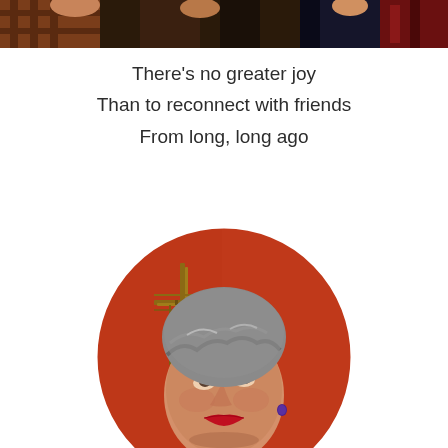[Figure (photo): Top strip of a group photo showing people in colorful clothing against a dark background]
There's no greater joy
Than to reconnect with friends
From long, long ago
[Figure (photo): Oval-framed portrait photo of an older woman with short grey hair, red lipstick, and a blue earring, standing in front of an orange/red wall with a decorative metal cross]